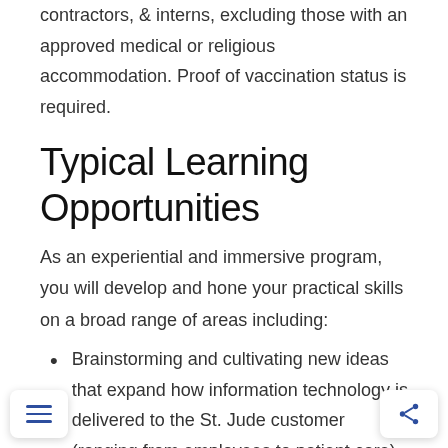contractors, & interns, excluding those with an approved medical or religious accommodation. Proof of vaccination status is required.
Typical Learning Opportunities
As an experiential and immersive program, you will develop and hone your practical skills on a broad range of areas including:
Brainstorming and cultivating new ideas that expand how information technology is delivered to the St. Jude customer (ranging from employees to patient care).